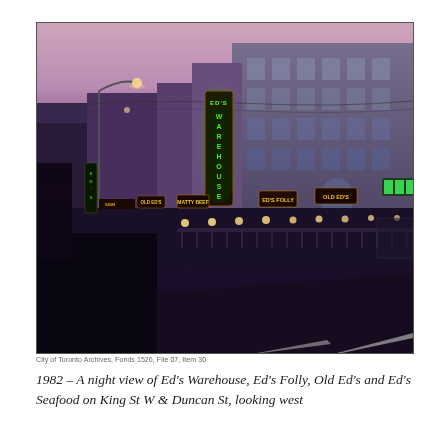[Figure (photo): A 1982 night photograph of King St W & Duncan St in Toronto, looking west. Shows illuminated neon signs for Ed's Warehouse (tall vertical sign), Ed's Folly, Old Ed's, and Ed's Seafood along the street. Buildings visible on the right side, dusk sky with purple-pink tones, street lights lit, cars on the road.]
City of Toronto Archives, Fonds 1526, File 07, Item 30
1982 – A night view of Ed's Warehouse, Ed's Folly, Old Ed's and Ed's Seafood on King St W & Duncan St, looking west